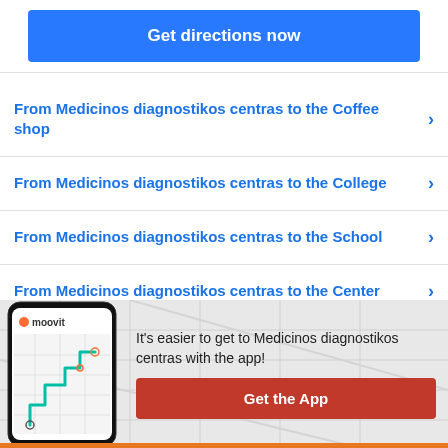Get directions now
From Medicinos diagnostikos centras to the Coffee shop
From Medicinos diagnostikos centras to the College
From Medicinos diagnostikos centras to the School
From Medicinos diagnostikos centras to the Center
[Figure (screenshot): Moovit app phone mockup showing a transit route map with teal path]
It's easier to get to Medicinos diagnostikos centras with the app!
Get the App